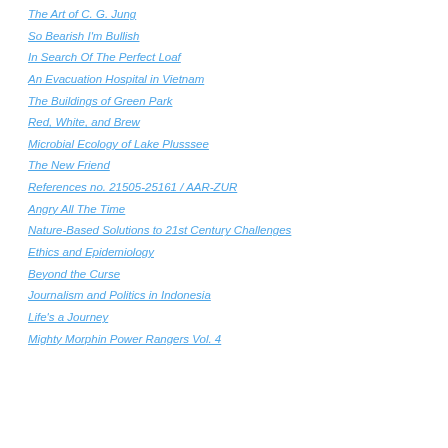The Art of C. G. Jung
So Bearish I'm Bullish
In Search Of The Perfect Loaf
An Evacuation Hospital in Vietnam
The Buildings of Green Park
Red, White, and Brew
Microbial Ecology of Lake Plusssee
The New Friend
References no. 21505-25161 / AAR-ZUR
Angry All The Time
Nature-Based Solutions to 21st Century Challenges
Ethics and Epidemiology
Beyond the Curse
Journalism and Politics in Indonesia
Life's a Journey
Mighty Morphin Power Rangers Vol. 4